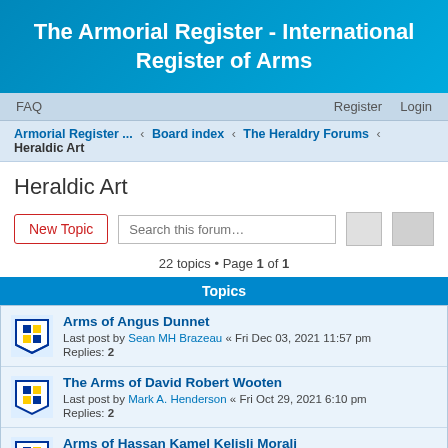The Armorial Register - International Register of Arms
FAQ  Register  Login
Armorial Register ... < Board index < The Heraldry Forums < Heraldic Art
Heraldic Art
New Topic  Search this forum…  22 topics • Page 1 of 1
Topics
Arms of Angus Dunnet
Last post by Sean MH Brazeau « Fri Dec 03, 2021 11:57 pm
Replies: 2
The Arms of David Robert Wooten
Last post by Mark A. Henderson « Fri Oct 29, 2021 6:10 pm
Replies: 2
Arms of Hassan Kamel Kelisli Morali
Last post by J Duncan of Sketraw « Tue Oct 26, 2021 2:01 pm
Replies: 1
Peterson Shield
Last post by J Duncan of Sketraw « Wed Oct 09, 2019 10:37 am
Replies: 2
Carving a heraldic crest